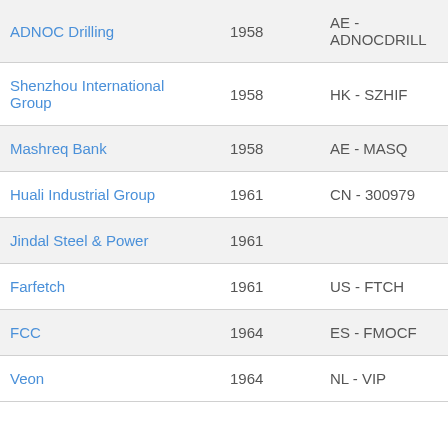| Company | Year | Exchange - Ticker | Industry |
| --- | --- | --- | --- |
| ADNOC Drilling | 1958 | AE - ADNOCDRILL | Ol & Ga... |
| Shenzhou International Group | 1958 | HK - SZHIF | Holding... |
| Mashreq Bank | 1958 | AE - MASQ | Banken... |
| Huali Industrial Group | 1961 | CN - 300979 | Sportswa... |
| Jindal Steel & Power | 1961 |  | Metall... |
| Farfetch | 1961 | US - FTCH | Bekleid... |
| FCC | 1964 | ES - FMOCF | Bau |
| Veon | 1964 | NL - VIP | Telekom... |